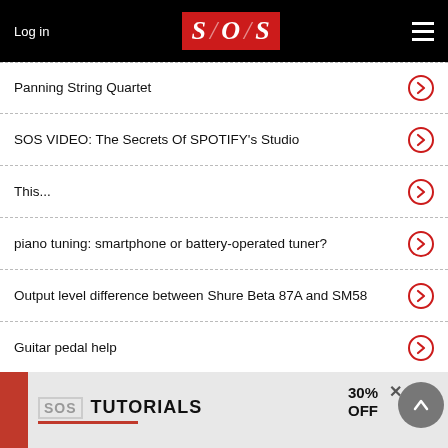Log in | SOS | Menu
Panning String Quartet
SOS VIDEO: The Secrets Of SPOTIFY's Studio
This...
piano tuning: smartphone or battery-operated tuner?
Output level difference between Shure Beta 87A and SM58
Guitar pedal help
Reverb settings on A&H mixer
How does this Live-Set-Up work exactly ?
question about Spire
[Figure (other): SOS Tutorials advertisement banner with 30% OFF discount offer]